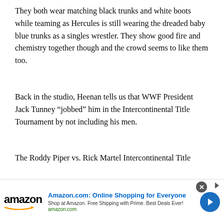They both wear matching black trunks and white boots while teaming as Hercules is still wearing the dreaded baby blue trunks as a singles wrestler. They show good fire and chemistry together though and the crowd seems to like them too.
Back in the studio, Heenan tells us that WWF President Jack Tunney “jobbed” him in the Intercontinental Title Tournament by not including his men.
The Roddy Piper vs. Rick Martel Intercontinental Title
[Figure (other): Amazon.com advertisement banner: logo with orange arrow, headline 'Amazon.com: Online Shopping for Everyone', subtext 'Shop at Amazon. Free Shipping with Prime. Best Deals Ever!', domain 'amazon.com', close button, and blue circular arrow CTA button.]